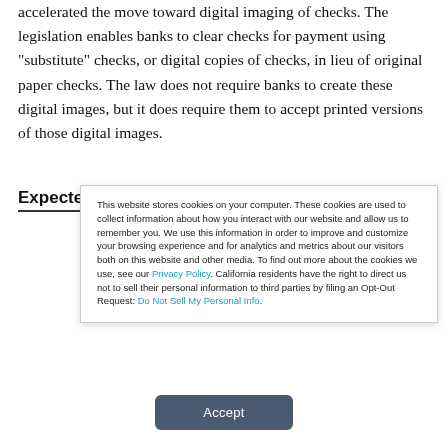accelerated the move toward digital imaging of checks. The legislation enables banks to clear checks for payment using "substitute" checks, or digital copies of checks, in lieu of original paper checks. The law does not require banks to create these digital images, but it does require them to accept printed versions of those digital images.
Expected Uptake
This website stores cookies on your computer. These cookies are used to collect information about how you interact with our website and allow us to remember you. We use this information in order to improve and customize your browsing experience and for analytics and metrics about our visitors both on this website and other media. To find out more about the cookies we use, see our Privacy Policy. California residents have the right to direct us not to sell their personal information to third parties by filing an Opt-Out Request: Do Not Sell My Personal Info.